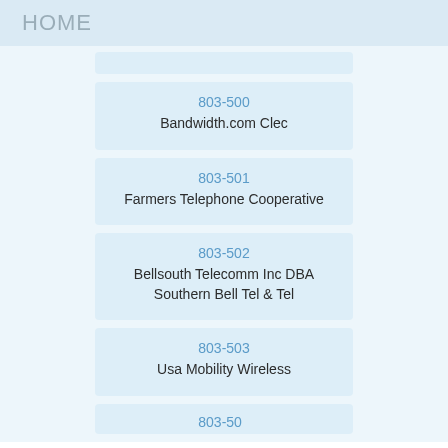HOME
803-500
Bandwidth.com Clec
803-501
Farmers Telephone Cooperative
803-502
Bellsouth Telecomm Inc DBA Southern Bell Tel & Tel
803-503
Usa Mobility Wireless
803-504